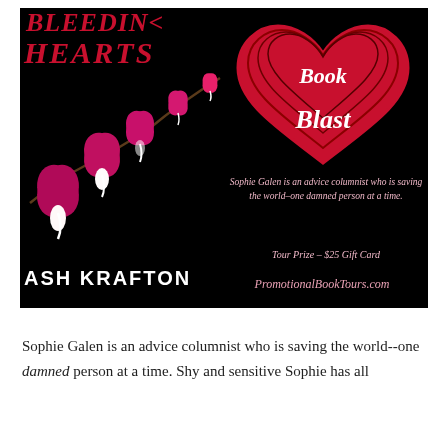[Figure (illustration): Book blast promotional banner for 'Bleeding Hearts' by Ash Krafton on a black background. Left side shows the book title 'Bleeding Hearts' in red italic text with pink bleeding heart flowers. Bottom left shows author name 'ASH KRAFTON' in white bold text. Right side shows a red heart graphic with 'Book Blast' in white italic text, a tagline 'Sophie Galen is an advice columnist who is saving the world--one damned person at a time.', Tour Prize - $25 Gift Card, and PromotionalBookTours.com.]
Sophie Galen is an advice columnist who is saving the world--one damned person at a time. Shy and sensitive Sophie has all